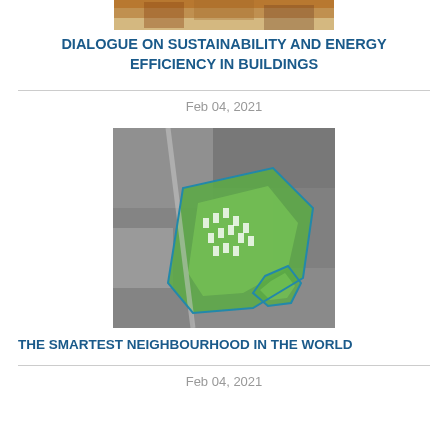[Figure (photo): Partial top strip of an image, cropped at the top of the page]
DIALOGUE ON SUSTAINABILITY AND ENERGY EFFICIENCY IN BUILDINGS
Feb 04, 2021
[Figure (photo): Aerial satellite view of a planned neighbourhood development shown highlighted in green against greyscale surroundings]
THE SMARTEST NEIGHBOURHOOD IN THE WORLD
Feb 04, 2021